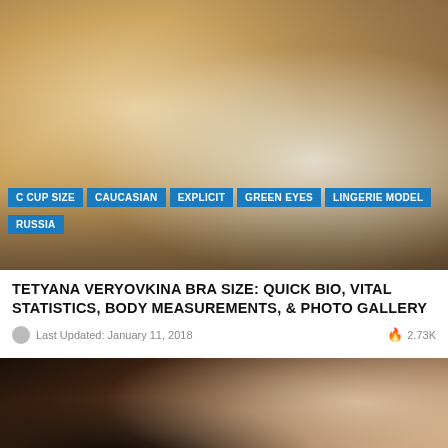[Figure (photo): A blonde woman lying on a bed wearing black and purple lace lingerie, photographed from above]
C CUP SIZE
CAUCASIAN
EXPLICIT
GREEN EYES
LINGERIE MODEL
RUSSIA
TETYANA VERYOVKINA BRA SIZE: QUICK BIO, VITAL STATISTICS, BODY MEASUREMENTS, & PHOTO GALLERY
Last Updated: January 11, 2018
2.73K
[Figure (photo): A dark-haired woman lying on her back looking up at the camera, wearing minimal clothing, photographed from above]